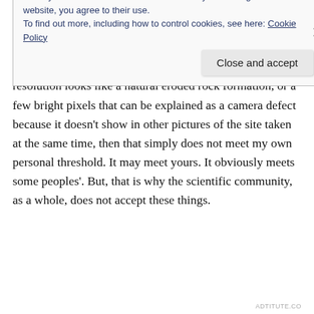But, the evidence that has been presented simply doesn't meet that threshold, in my opinion.
If the best evidence for aliens is a mesa that at high-resolution looks like a natural eroded rock formation, or a few bright pixels that can be explained as a camera defect because it doesn't show in other pictures of the site taken at the same time, then that simply does not meet my own personal threshold. It may meet yours. It obviously meets some peoples'. But, that is why the scientific community, as a whole, does not accept these things.
Privacy & Cookies: This site uses cookies. By continuing to use this website, you agree to their use. To find out more, including how to control cookies, see here: Cookie Policy
ADTITUTE.CO